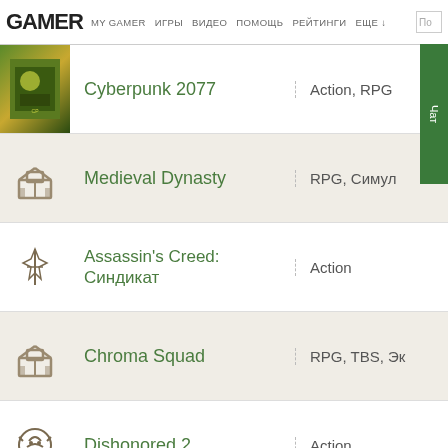GAMER | MY GAMER ИГРЫ ВИДЕО ПОМОЩЬ РЕЙТИНГИ ЕЩЕ
Cyberpunk 2077 | Action, RPG
Medieval Dynasty | RPG, Симул
Assassin's Creed: Синдикат | Action
Chroma Squad | RPG, TBS, Эк
Dishonored 2 | Action
Fallout 4 | Action, RPG
Mass Effect: Andromeda | Action, RPG
Chickenoidz Super Party | Action, Аркада,
Teenage Mutant Ninja Turtles: Shredder's Revenge | Action, Аркада